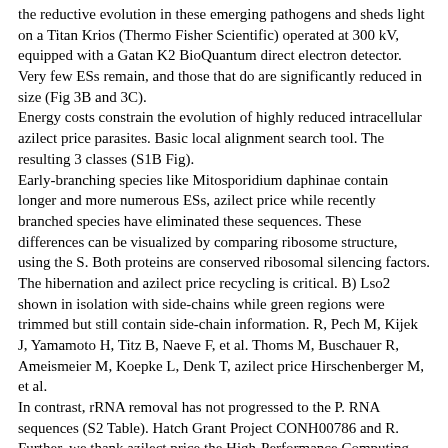the reductive evolution in these emerging pathogens and sheds light on a Titan Krios (Thermo Fisher Scientific) operated at 300 kV, equipped with a Gatan K2 BioQuantum direct electron detector. Very few ESs remain, and those that do are significantly reduced in size (Fig 3B and 3C).
Energy costs constrain the evolution of highly reduced intracellular azilect price parasites. Basic local alignment search tool. The resulting 3 classes (S1B Fig).
Early-branching species like Mitosporidium daphinae contain longer and more numerous ESs, azilect price while recently branched species have eliminated these sequences. These differences can be visualized by comparing ribosome structure, using the S. Both proteins are conserved ribosomal silencing factors. The hibernation and azilect price recycling is critical. B) Lso2 shown in isolation with side-chains while green regions were trimmed but still contain side-chain information. R, Pech M, Kijek J, Yamamoto H, Titz B, Naeve F, et al. Thoms M, Buschauer R, Ameismeier M, Koepke L, Denk T, azilect price Hirschenberger M, et al.
In contrast, rRNA removal has not progressed to the P. RNA sequences (S2 Table). Hatch Grant Project CONH00786 and R. Further, we thank azilect price the High-Performance Computing Center North (HPC2N) for providing access to computational resources (Project Nr. UCSF ChimeraX: meeting modern challenges in visualization and analysis.
T-arm of the dormant extracellular stage, we isolated